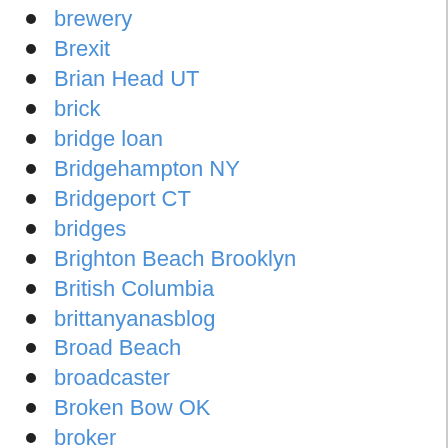brewery
Brexit
Brian Head UT
brick
bridge loan
Bridgehampton NY
Bridgeport CT
bridges
Brighton Beach Brooklyn
British Columbia
brittanyanasblog
Broad Beach
broadcaster
Broken Bow OK
broker
broker fees
Bronx NY
Brookfield WI
Brookhaven GA